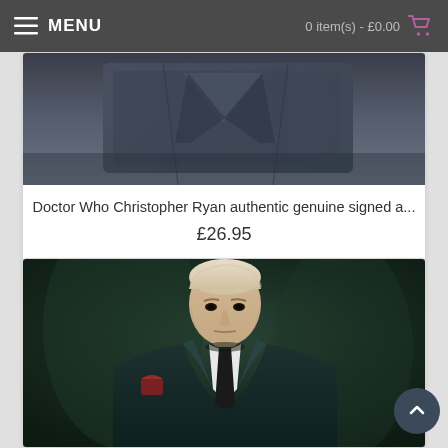MENU | 0 item(s) - £0.00
[Figure (photo): Partial product photo showing what appears to be a dark fabric/jacket item, cropped at top]
Doctor Who Christopher Ryan authentic genuine signed a...
£26.95
[Figure (photo): Photo of a man with pale blonde hair wearing a dark suit with white shirt and black tie, with a red pocket square, stern expression, dark background]